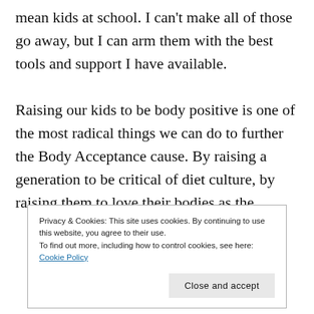mean kids at school. I can't make all of those go away, but I can arm them with the best tools and support I have available.

Raising our kids to be body positive is one of the most radical things we can do to further the Body Acceptance cause. By raising a generation to be critical of diet culture, by raising them to love their bodies as the
Privacy & Cookies: This site uses cookies. By continuing to use this website, you agree to their use.
To find out more, including how to control cookies, see here: Cookie Policy
Close and accept